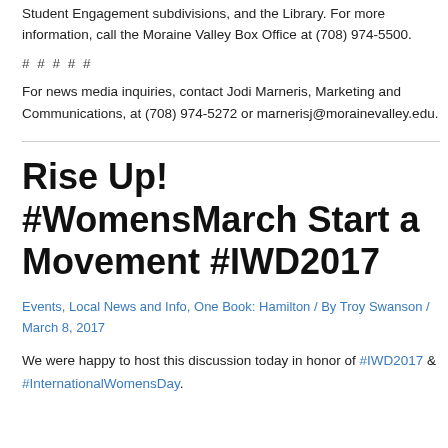Student Engagement subdivisions, and the Library. For more information, call the Moraine Valley Box Office at (708) 974-5500.
# # # # #
For news media inquiries, contact Jodi Marneris, Marketing and Communications, at (708) 974-5272 or marnerisj@morainevalley.edu.
Rise Up! #WomensMarch Start a Movement #IWD2017
Events, Local News and Info, One Book: Hamilton / By Troy Swanson / March 8, 2017
We were happy to host this discussion today in honor of #IWD2017 & #InternationalWomensDay.